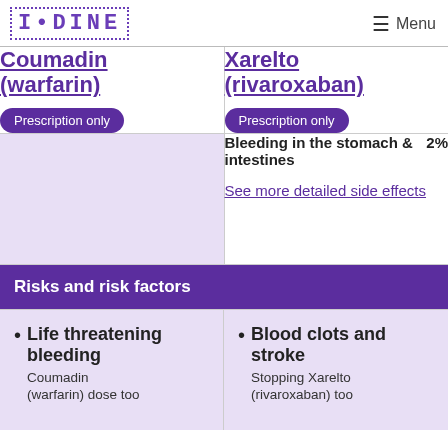IODINE  Menu
| Coumadin (warfarin) Prescription only | Xarelto (rivaroxaban) Prescription only |
| --- | --- |
|  | Bleeding in the stomach & intestines  2%
See more detailed side effects |
| Risks and risk factors | Risks and risk factors |
| Life threatening bleeding
Coumadin (warfarin) dose too | Blood clots and stroke
Stopping Xarelto (rivaroxaban) too |